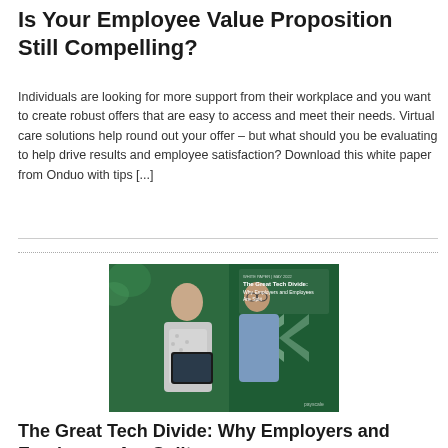Is Your Employee Value Proposition Still Compelling?
Individuals are looking for more support from their workplace and you want to create robust offers that are easy to access and meet their needs. Virtual care solutions help round out your offer – but what should you be evaluating to help drive results and employee satisfaction? Download this white paper from Onduo with tips [...]
[Figure (photo): Cover image of a white paper titled 'The Great Tech Divide: Why Employers and Employees Are Split' showing two professionals—a woman and a man with glasses—looking at a tablet together, with a green background and chevron arrows]
The Great Tech Divide: Why Employers and Employees Are Split